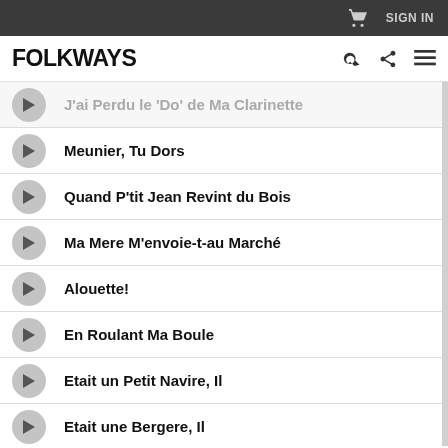SIGN IN
FOLKWAYS
J'ai Perdu le 'Do' de Ma Clarinette
Meunier, Tu Dors
Quand P'tit Jean Revint du Bois
Ma Mere M'envoie-t-au Marché
Alouette!
En Roulant Ma Boule
Etait un Petit Navire, Il
Etait une Bergere, Il
L'Apprenti Pastouriau
Mariann' S'en Va-T-Au Moulin